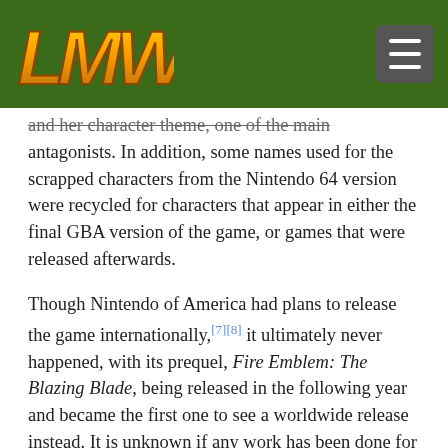LMW logo and navigation menu
and her character theme, one of the main antagonists. In addition, some names used for the scrapped characters from the Nintendo 64 version were recycled for characters that appear in either the final GBA version of the game, or games that were released afterwards.
Though Nintendo of America had plans to release the game internationally,[7][8] it ultimately never happened, with its prequel, Fire Emblem: The Blazing Blade, being released in the following year and became the first one to see a worldwide release instead. It is unknown if any work has been done for the official localization, or if it was ever produced at all.
List of Recycled Names